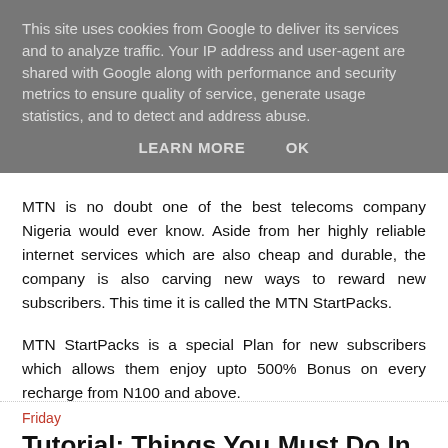This site uses cookies from Google to deliver its services and to analyze traffic. Your IP address and user-agent are shared with Google along with performance and security metrics to ensure quality of service, generate usage statistics, and to detect and address abuse.
LEARN MORE    OK
MTN is no doubt one of the best telecoms company Nigeria would ever know. Aside from her highly reliable internet services which are also cheap and durable, the company is also carving new ways to reward new subscribers. This time it is called the MTN StartPacks.
MTN StartPacks is a special Plan for new subscribers which allows them enjoy upto 500% Bonus on every recharge from N100 and above.
Friday
Tutorial: Things You Must Do In